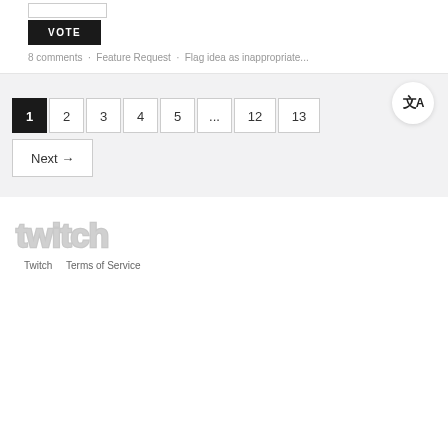[Figure (other): White input box (vote input field)]
VOTE
8 comments · Feature Request · Flag idea as inappropriate...
[Figure (other): Translation icon button (文A) — circular white button]
1  2  3  4  5  ...  12  13
Next →
[Figure (logo): Twitch logo in grey]
Twitch   Terms of Service